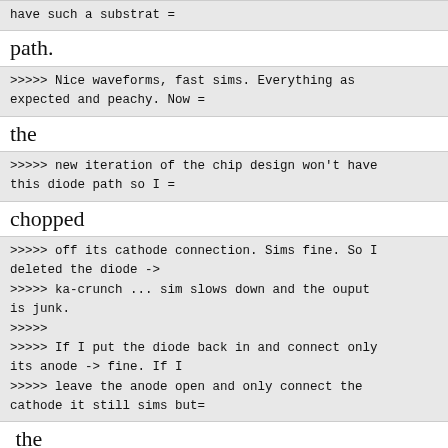have such a substrat =
path.
>>>>> Nice waveforms, fast sims. Everything as expected and peachy. Now =
the
>>>>> new iteration of the chip design won't have this diode path so I =
chopped
>>>>> off its cathode connection. Sims fine. So I deleted the diode ->
>>>>> ka-crunch ... sim slows down and the ouput is junk.
>>>>>
>>>>> If I put the diode back in and connect only its anode -> fine. If I
>>>>> leave the anode open and only connect the cathode it still sims but=
the
>>>>> results are different.
>>>>>
>>>>> <scratching head>
>>>>    I really hate to ask this, but have you "simulated" your LTSpice